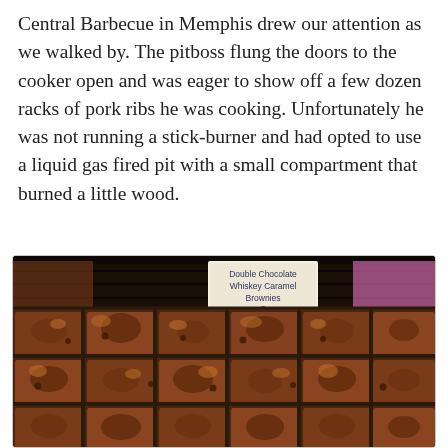Central Barbecue in Memphis drew our attention as we walked by. The pitboss flung the doors to the cooker open and was eager to show off a few dozen racks of pork ribs he was cooking. Unfortunately he was not running a stick-burner and had opted to use a liquid gas fired pit with a small compartment that burned a little wood.
[Figure (photo): A tray of Double Chocolate Whiskey Caramel Brownies displayed with a handwritten sign. The brownies are rich, dark chocolate colored, cut into squares, and appear gooey and fudgy with visible caramel and chocolate chips.]